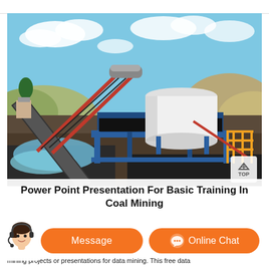[Figure (photo): Outdoor industrial coal mining equipment: a large blue steel frame structure with conveyor belt, white cylindrical tank on top, and a 'TOP' overlay button in the bottom right corner of the image. Blue sky with clouds in background, rocky terrain visible.]
Power Point Presentation For Basic Training In Coal Mining
[Figure (other): Orange chat bar with avatar of customer service agent (woman with headset), a 'Message' button and an 'Online Chat' button with chat icon.]
mining projects or presentations for data mining. This free data